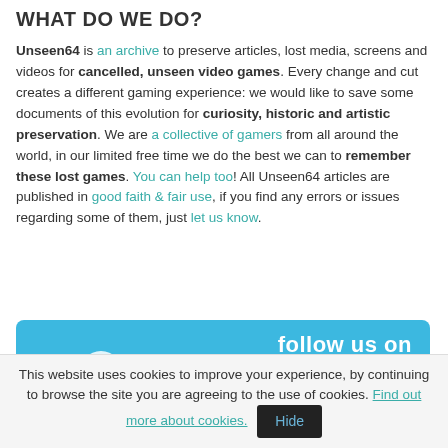WHAT DO WE DO?
Unseen64 is an archive to preserve articles, lost media, screens and videos for cancelled, unseen video games. Every change and cut creates a different gaming experience: we would like to save some documents of this evolution for curiosity, historic and artistic preservation. We are a collective of gamers from all around the world, in our limited free time we do the best we can to remember these lost games. You can help too! All Unseen64 articles are published in good faith & fair use, if you find any errors or issues regarding some of them, just let us know.
[Figure (other): Follow us on Twitter banner with Twitter bird logo and stylized Twitter text on a blue background]
This website uses cookies to improve your experience, by continuing to browse the site you are agreeing to the use of cookies. Find out more about cookies. Hide